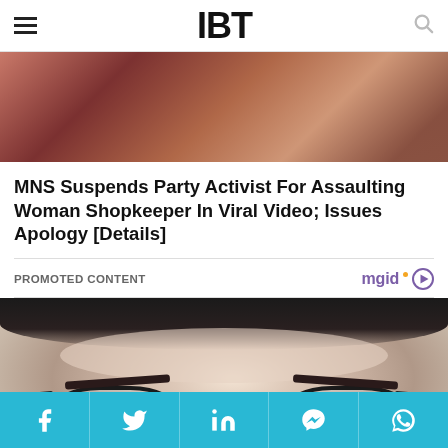IBT
[Figure (photo): Partial cropped photo, reddish-brown tones, appears to be a close-up image]
MNS Suspends Party Activist For Assaulting Woman Shopkeeper In Viral Video; Issues Apology [Details]
PROMOTED CONTENT
mgid
[Figure (photo): Close-up photo of a woman with short dark hair, glasses, blue eyes, and a pearl earring, smiling slightly]
Social share buttons: Facebook, Twitter, LinkedIn, Messenger, WhatsApp